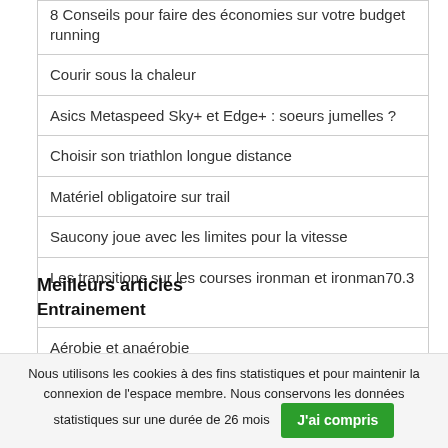8 Conseils pour faire des économies sur votre budget running
Courir sous la chaleur
Asics Metaspeed Sky+ et Edge+ : soeurs jumelles ?
Choisir son triathlon longue distance
Matériel obligatoire sur trail
Saucony joue avec les limites pour la vitesse
Les transitions sur les courses ironman et ironman70.3
Meilleurs articles
Entrainement
Aérobie et anaérobie
Nous utilisons les cookies à des fins statistiques et pour maintenir la connexion de l'espace membre. Nous conservons les données statistiques sur une durée de 26 mois
J'ai compris